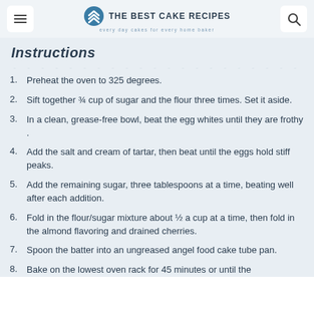THE BEST CAKE RECIPES — every day cakes for every home baker
Instructions
Preheat the oven to 325 degrees.
Sift together ¾ cup of sugar and the flour three times. Set it aside.
In a clean, grease-free bowl, beat the egg whites until they are frothy .
Add the salt and cream of tartar, then beat until the eggs hold stiff peaks.
Add the remaining sugar, three tablespoons at a time, beating well after each addition.
Fold in the flour/sugar mixture about ½ a cup at a time, then fold in the almond flavoring and drained cherries.
Spoon the batter into an ungreased angel food cake tube pan.
Bake on the lowest oven rack for 45 minutes or until the